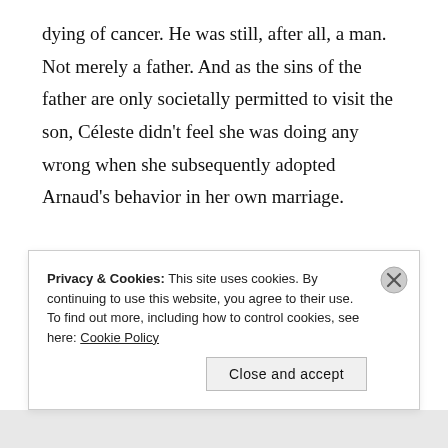dying of cancer. He was still, after all, a man. Not merely a father. And as the sins of the father are only societally permitted to visit the son, Céleste didn't feel she was doing any wrong when she subsequently adopted Arnaud's behavior in her own marriage.

Of course, when a woman did such things (particularly a French woman), it was not
Privacy & Cookies: This site uses cookies. By continuing to use this website, you agree to their use.
To find out more, including how to control cookies, see here: Cookie Policy